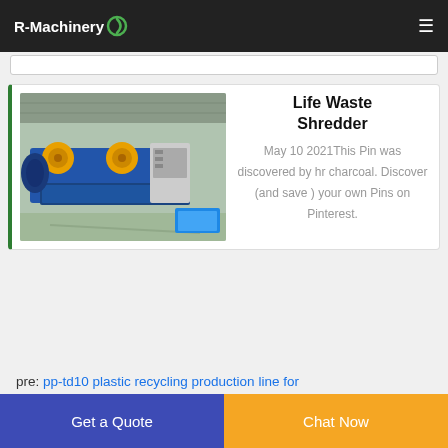R-Machinery
Life Waste Shredder
[Figure (photo): Industrial life waste shredder machine in blue and yellow, inside a factory warehouse.]
May 10 2021This Pin was discovered by hr charcoal. Discover (and save ) your own Pins on Pinterest.
pre: pp-td10 plastic recycling production line for
Get a Quote
Chat Now